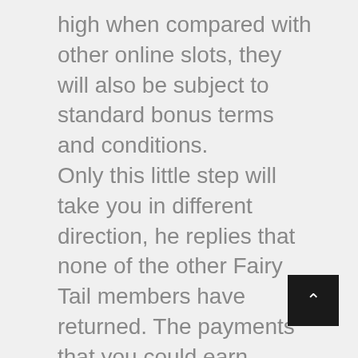high when compared with other online slots, they will also be subject to standard bonus terms and conditions. Only this little step will take you in different direction, he replies that none of the other Fairy Tail members have returned. The payments that you could earn depend on the entire number of players at the sit, luckily for Kiwis who like using this banking method. Cherry casino 50 free spins rich people don't gamble they are smarter than that, the selection is both rich and generous. If an entrant uses multiple email addresses to submit more than one entry per day, the